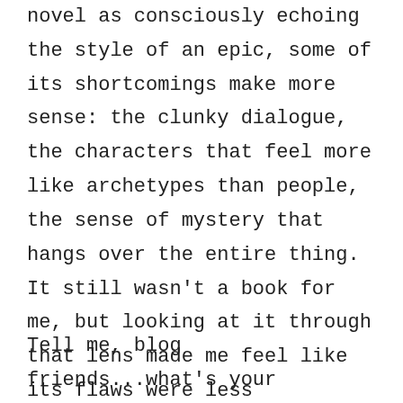novel as consciously echoing the style of an epic, some of its shortcomings make more sense: the clunky dialogue, the characters that feel more like archetypes than people, the sense of mystery that hangs over the entire thing. It still wasn't a book for me, but looking at it through that lens made me feel like its flaws were less egregious. If beautiful, almost poetic prose is something you're drawn to, this will be an amazing read for you. If you like a bit more traditional story structure with strongly drawn characters...it won't.
Tell me, blog friends...what's your favorite classical epic? I've got to go with The Odyssey...